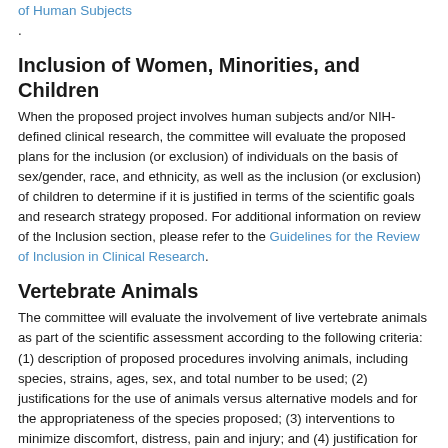of Human Subjects.
Inclusion of Women, Minorities, and Children
When the proposed project involves human subjects and/or NIH-defined clinical research, the committee will evaluate the proposed plans for the inclusion (or exclusion) of individuals on the basis of sex/gender, race, and ethnicity, as well as the inclusion (or exclusion) of children to determine if it is justified in terms of the scientific goals and research strategy proposed. For additional information on review of the Inclusion section, please refer to the Guidelines for the Review of Inclusion in Clinical Research.
Vertebrate Animals
The committee will evaluate the involvement of live vertebrate animals as part of the scientific assessment according to the following criteria: (1) description of proposed procedures involving animals, including species, strains, ages, sex, and total number to be used; (2) justifications for the use of animals versus alternative models and for the appropriateness of the species proposed; (3) interventions to minimize discomfort, distress, pain and injury; and (4) justification for euthanasia method if NOT consistent with the AVMA Guidelines for the Euthanasia of Animals. Reviewers will